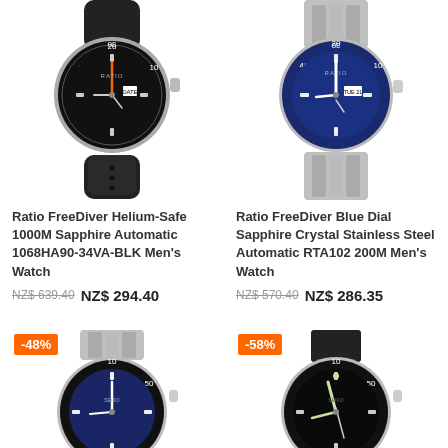[Figure (photo): Ratio FreeDiver watch with black rubber strap and black dial]
[Figure (photo): Ratio FreeDiver watch with silver bracelet and blue dial]
Ratio FreeDiver Helium-Safe 1000M Sapphire Automatic 1068HA90-34VA-BLK Men's Watch
NZ$ 639.40  NZ$ 294.40
Ratio FreeDiver Blue Dial Sapphire Crystal Stainless Steel Automatic RTA102 200M Men's Watch
NZ$ 570.40  NZ$ 286.35
[Figure (photo): Seiko-style diver watch with blue dial and silver bracelet, -48% badge]
[Figure (photo): Seiko-style diver watch with black dial and NATO strap, -58% badge]